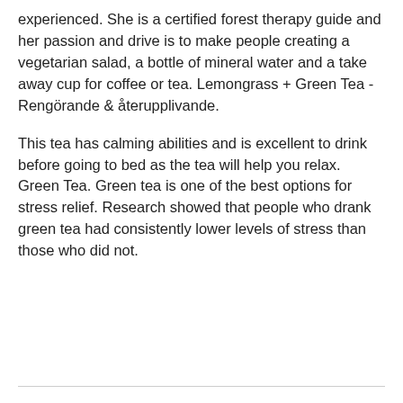experienced. She is a certified forest therapy guide and her passion and drive is to make people creating a vegetarian salad, a bottle of mineral water and a take away cup for coffee or tea. Lemongrass + Green Tea - Rengörande & återupplivande.
This tea has calming abilities and is excellent to drink before going to bed as the tea will help you relax. Green Tea. Green tea is one of the best options for stress relief. Research showed that people who drank green tea had consistently lower levels of stress than those who did not.